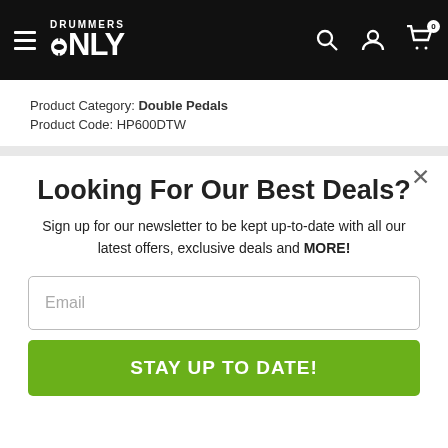Drummers Only — navigation header with hamburger menu, logo, search, account, and cart icons
Product Category: Double Pedals
Product Code: HP600DTW
Looking For Our Best Deals?
Sign up for our newsletter to be kept up-to-date with all our latest offers, exclusive deals and MORE!
Email
STAY UP TO DATE!